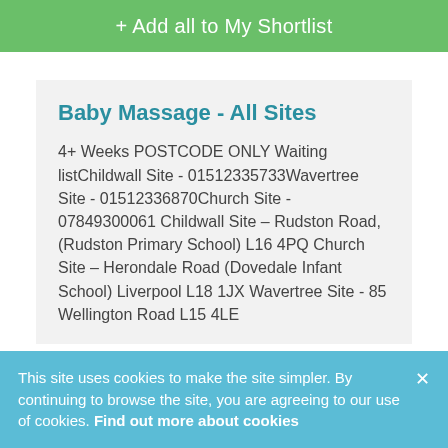+ Add all to My Shortlist
Baby Massage - All Sites
4+ Weeks POSTCODE ONLY Waiting listChildwall Site - 01512335733Wavertree Site - 01512336870Church Site - 07849300061 Childwall Site – Rudston Road, (Rudston Primary School) L16 4PQ Church Site – Herondale Road (Dovedale Infant School) Liverpool L18 1JX Wavertree Site - 85 Wellington Road L15 4LE
This site uses cookies to make the site simpler. By continuing to browse the site, you are agreeing to our use of cookies. Find out more about cookies